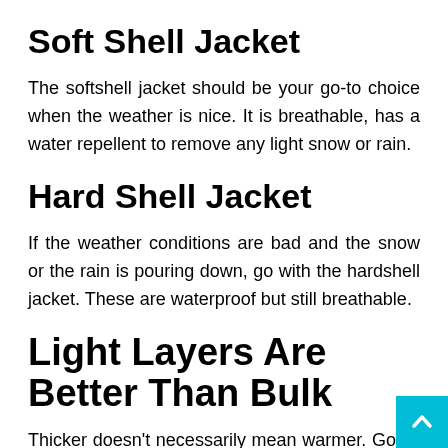Soft Shell Jacket
The softshell jacket should be your go-to choice when the weather is nice. It is breathable, has a water repellent to remove any light snow or rain.
Hard Shell Jacket
If the weather conditions are bad and the snow or the rain is pouring down, go with the hardshell jacket. These are waterproof but still breathable.
Light Layers Are Better Than Bulk
Thicker doesn't necessarily mean warmer. Going with a few thin layers is better than using one but thicker. The trick is bet the layers, where the air is being trapped. This way you'll